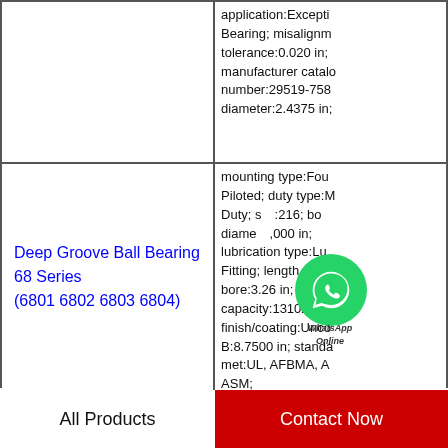| Product | Specifications |
| --- | --- |
|  | application:Exception Bearing; misalignment tolerance:0.020 in; manufacturer catalog number:29519-7589; diameter:2.4375 in; |
| Deep Groove Ball Bearing 68 Series (6801 6802 6803 6804) | mounting type:Four-Bolt Piloted; duty type:Medium Duty; size:216; bore diameter:3.000 in; lubrication type:Lube Fitting; length through bore:3.26 in; radial capacity:13102 lb; finish/coating:Uncoated; B:8.7500 in; standards met:UL, AFBMA, ASM; |
All Products
Contact Now